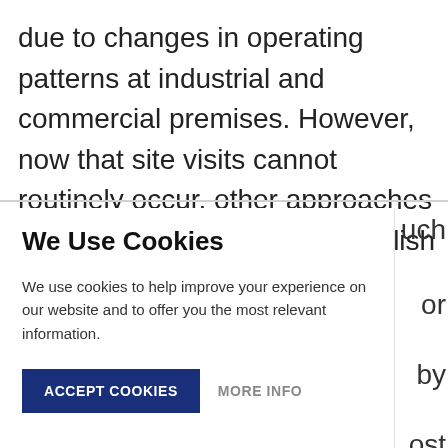due to changes in operating patterns at industrial and commercial premises. However, now that site visits cannot routinely occur, other approaches may have to be taken to establish an appropriate
We Use Cookies
We use cookies to help improve your experience on our website and to offer you the most relevant information.
ACCEPT COOKIES
MORE INFO